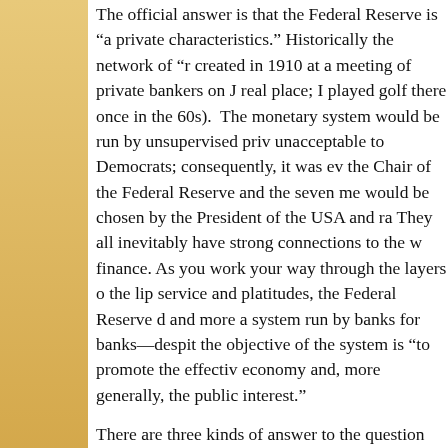The official answer is that the Federal Reserve is "a private characteristics." Historically the network of "r created in 1910 at a meeting of private bankers on J real place; I played golf there once in the 60s). The monetary system would be run by unsupervised priv unacceptable to Democrats; consequently, it was ev the Chair of the Federal Reserve and the seven me would be chosen by the President of the USA and ra They all inevitably have strong connections to the w finance. As you work your way through the layers o the lip service and platitudes, the Federal Reserve d and more a system run by banks for banks—despit the objective of the system is “to promote the effectiv economy and, more generally, the public interest.”
There are three kinds of answer to the question "Wh Reserve?"
The historical, conspiracy-inclined answer is th is owned by eight families:
https://www.linkedin.com/pulse/federal-reserve